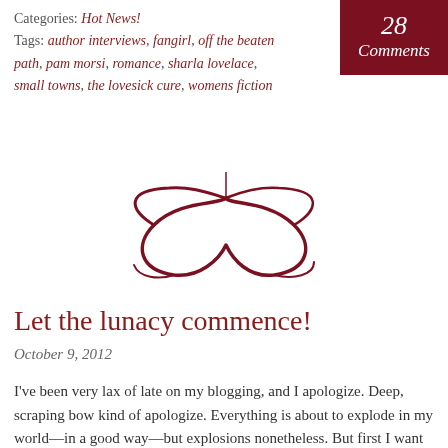Categories: Hot News!
Tags: author interviews, fangirl, off the beaten path, pam morsi, romance, sharla lovelace, small towns, the lovesick cure, womens fiction
[Figure (illustration): Decorative cursive/calligraphic swirl logo in dark red/maroon color]
Let the lunacy commence!
October 9, 2012
I've been very lax of late on my blogging, and I apologize.  Deep, scraping bow kind of apologize. Everything is about to explode in my world––in a good way––but explosions nonetheless. But first I want to put a shout out for my Off The Beaten Path blog feature tomorrow! This month I have RWA WF chapter's ver